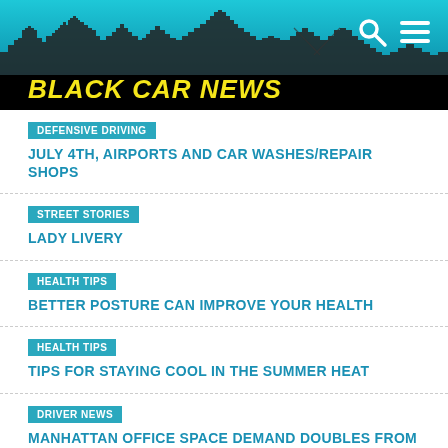[Figure (logo): Black Car News website header with city skyline silhouette on teal/blue gradient background, logo text 'BLACK CAR NEWS' in yellow italic bold, search and menu icons top right]
DEFENSIVE DRIVING
JULY 4TH, AIRPORTS AND CAR WASHES/REPAIR SHOPS
STREET STORIES
LADY LIVERY
HEALTH TIPS
BETTER POSTURE CAN IMPROVE YOUR HEALTH
HEALTH TIPS
TIPS FOR STAYING COOL IN THE SUMMER HEAT
DRIVER NEWS
MANHATTAN OFFICE SPACE DEMAND DOUBLES FROM LAST YEAR
DRIVER NEWS
STUDY SHOWS PEOPLE TIP MORE WHEN GIVEN OPTIONS